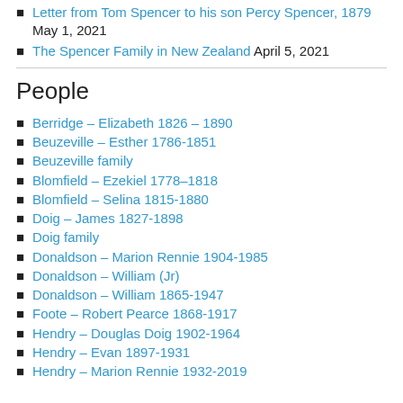Letter from Tom Spencer to his son Percy Spencer, 1879 May 1, 2021
The Spencer Family in New Zealand April 5, 2021
People
Berridge – Elizabeth 1826 – 1890
Beuzeville – Esther 1786-1851
Beuzeville family
Blomfield – Ezekiel 1778–1818
Blomfield – Selina 1815-1880
Doig – James 1827-1898
Doig family
Donaldson – Marion Rennie 1904-1985
Donaldson – William (Jr)
Donaldson – William 1865-1947
Foote – Robert Pearce 1868-1917
Hendry – Douglas Doig 1902-1964
Hendry – Evan 1897-1931
Hendry – Marion Rennie 1932-2019